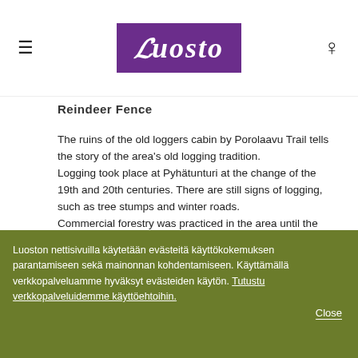≡  LUOSTO  ☽
Reindeer Fence
The ruins of the old loggers cabin by Porolaavu Trail tells the story of the area's old logging tradition.
Logging took place at Pyhätunturi at the change of the 19th and 20th centuries. There are still signs of logging, such as tree stumps and winter roads.
Commercial forestry was practiced in the area until the National Park was established there in 1938. At the reindeer fences the Pyhä-Kallio Herders' Association has reindeer round-ups at the end of the year.
During the round-ups reindeer are checked for their brands
Luoston nettisivuilla käytetään evästeitä käyttökokemuksen parantamiseen sekä mainonnan kohdentamiseen. Käyttämällä verkkopalveluamme hyväksyt evästeiden käytön. Tutustu verkkopalveluidemme käyttöehtoihin.
Close